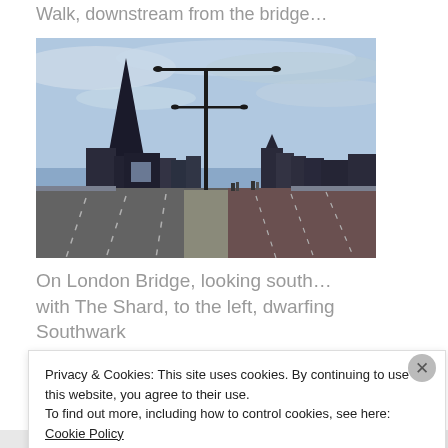Walk, downstream from the bridge…
[Figure (photo): View from London Bridge looking south, with The Shard skyscraper on the left and Southwark Cathedral in the background. The bridge roadway stretches into the distance with road markings visible.]
On London Bridge, looking south…with The Shard, to the left, dwarfing Southwark
Privacy & Cookies: This site uses cookies. By continuing to use this website, you agree to their use.
To find out more, including how to control cookies, see here: Cookie Policy
Close and accept